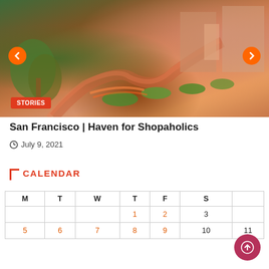[Figure (photo): Aerial/street view of Lombard Street San Francisco at dusk with winding road, hedges, and buildings illuminated by orange light. Navigation arrows on left and right. Red STORIES badge in lower left.]
San Francisco | Haven for Shopaholics
July 9, 2021
CALENDAR
| M | T | W | T | F | S | S |
| --- | --- | --- | --- | --- | --- | --- |
|  |  |  | 1 | 2 | 3 |  |
| 5 | 6 | 7 | 8 | 9 | 10 | 11 |